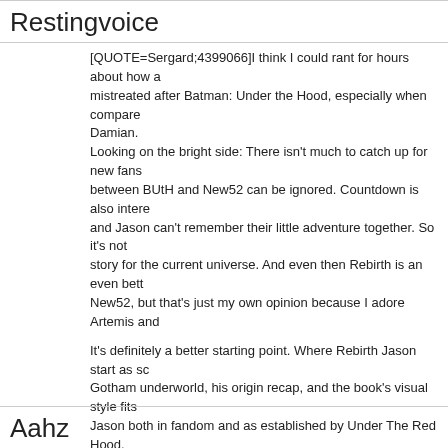Restingvoice
[QUOTE=Sergard;4399066]I think I could rant for hours about how a mistreated after Batman: Under the Hood, especially when compare Damian.
Looking on the bright side: There isn't much to catch up for new fans between BUtH and New52 can be ignored. Countdown is also intere and Jason can't remember their little adventure together. So it's not story for the current universe. And even then Rebirth is an even bett New52, but that's just my own opinion because I adore Artemis and
It's definitely a better starting point. Where Rebirth Jason start as sc Gotham underworld, his origin recap, and the book's visual style fits Jason both in fandom and as established by Under The Red Hood.
New 52 Red Hood is more like Titans. You got sci-fi, bros being bros adventures, demons, it's too... out there compared to how Under Th Jason, and that's before they remade Jason's origin into something
It's not what I expected a Jason Todd story goes compared to the im from pop culture osmosis. Even with the addition of superpowered c Outlaws also have, The Rebirth version fits that tone better.
Aahz